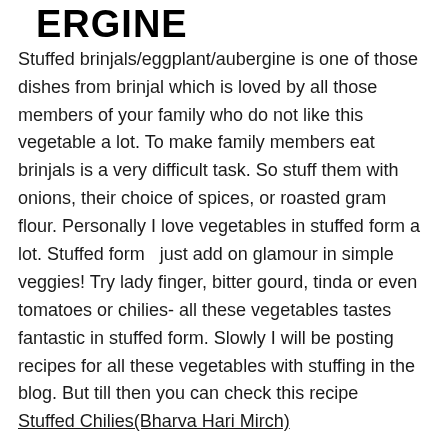ERGINE
Stuffed brinjals/eggplant/aubergine is one of those dishes from brinjal which is loved by all those members of your family who do not like this vegetable a lot. To make family members eat brinjals is a very difficult task. So stuff them with onions, their choice of spices, or roasted gram flour. Personally I love vegetables in stuffed form a lot. Stuffed form  just add on glamour in simple veggies! Try lady finger, bitter gourd, tinda or even tomatoes or chilies- all these vegetables tastes fantastic in stuffed form. Slowly I will be posting recipes for all these vegetables with stuffing in the blog. But till then you can check this recipe   Stuffed Chilies(Bharva Hari Mirch)